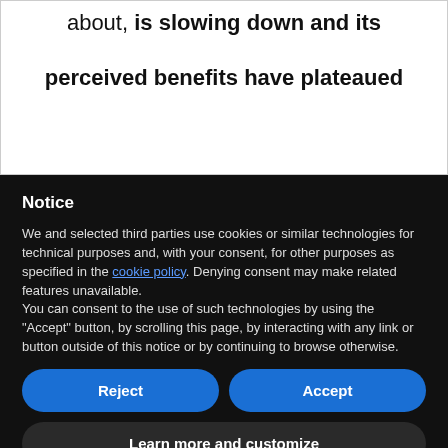about, is slowing down and its perceived benefits have plateaued
Notice
We and selected third parties use cookies or similar technologies for technical purposes and, with your consent, for other purposes as specified in the cookie policy. Denying consent may make related features unavailable.
You can consent to the use of such technologies by using the "Accept" button, by scrolling this page, by interacting with any link or button outside of this notice or by continuing to browse otherwise.
Reject
Accept
Learn more and customize